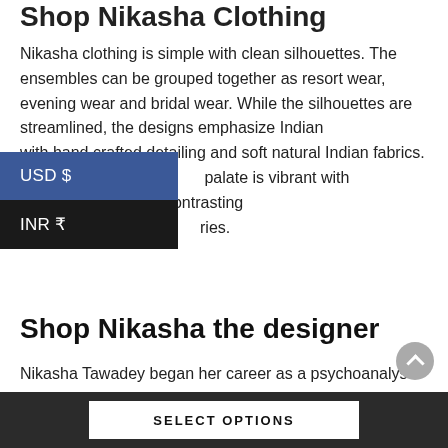Shop Nikasha Clothing
Nikasha clothing is simple with clean silhouettes. The ensembles can be grouped together as resort wear, evening wear and bridal wear. While the silhouettes are streamlined, the designs emphasize Indian with hand crafted detailing and soft natural Indian fabrics. palate is vibrant with complementary and contrasting ries.
[Figure (screenshot): Currency dropdown menu showing two options: USD $ (selected, blue background) and INR ₹ (dark/black background)]
Shop Nikasha the designer
Nikasha Tawadey began her career as a psychoanalyst. But soon, her love for fashion overrode everything else. She tried her hand at fashion design and was invited to showcase and retail her outfits at Selfridges in London. After launching the Nikasha label, she became the only designer to retail her creations at Macy's in San Francisco. Over the years, she has launched several seasonal collections at
SELECT OPTIONS